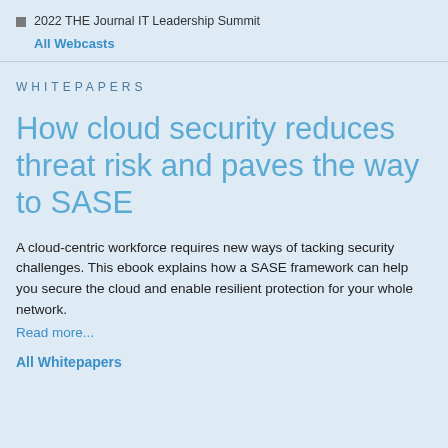2022 THE Journal IT Leadership Summit
All Webcasts
WHITEPAPERS
How cloud security reduces threat risk and paves the way to SASE
A cloud-centric workforce requires new ways of tacking security challenges. This ebook explains how a SASE framework can help you secure the cloud and enable resilient protection for your whole network.
Read more...
All Whitepapers